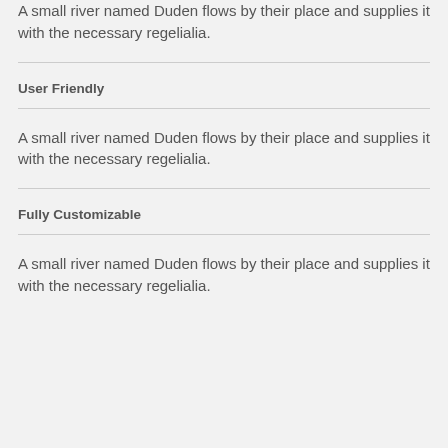A small river named Duden flows by their place and supplies it with the necessary regelialia.
User Friendly
A small river named Duden flows by their place and supplies it with the necessary regelialia.
Fully Customizable
A small river named Duden flows by their place and supplies it with the necessary regelialia.